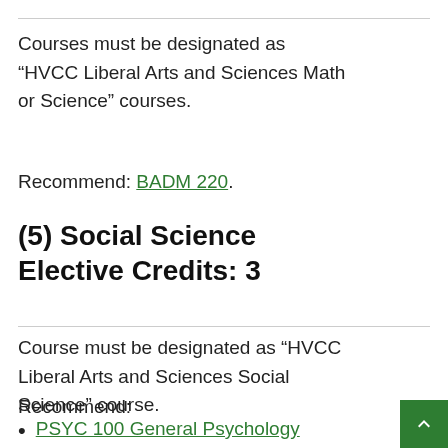Courses must be designated as “HVCC Liberal Arts and Sciences Math or Science” courses.
Recommend: BADM 220.
(5) Social Science Elective Credits: 3
Course must be designated as “HVCC Liberal Arts and Sciences Social Science” course.
Recommend:
PSYC 100 General Psychology